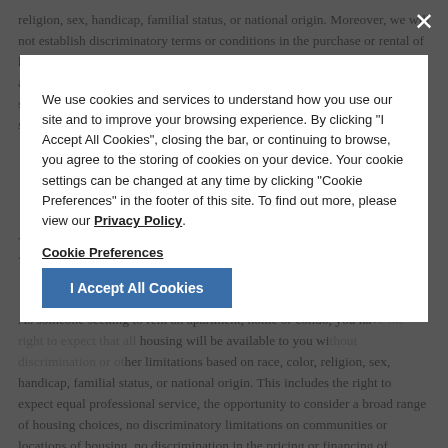religion, sex, handicap, familial status, or national origin. Moreover, we will not establish discriminatory terms or conditions in the purchase or rental of housing, will not deny that housing is available to a person, but will direct all persons to housing through the same facilities and using the same services without regard to race, color, religion, sex, handicap, familial status, or national origin.
Renter's Rights
As someone seeking to rent an apartment, home or condo, you have the right to expect that all housing will be available to you without discrimination or other limitations based on race, color, religion, sex, handicap, familial status, or national origin. This includes the right to expect equal professional service, the opportunity to consider a broad range of housing choices, no discriminatory limitations on communities or locations of housing, no discrimination in the pricing or financing of housing, reasonable accommodations in rules, practices and procedures for persons with disabilities, and to be free from harassment or intimidation for exercising your fair housing rights.
We use cookies and services to understand how you use our site and to improve your browsing experience. By clicking "I Accept All Cookies", closing the bar, or continuing to browse, you agree to the storing of cookies on your device. Your cookie settings can be changed at any time by clicking "Cookie Preferences" in the footer of this site. To find out more, please view our Privacy Policy.